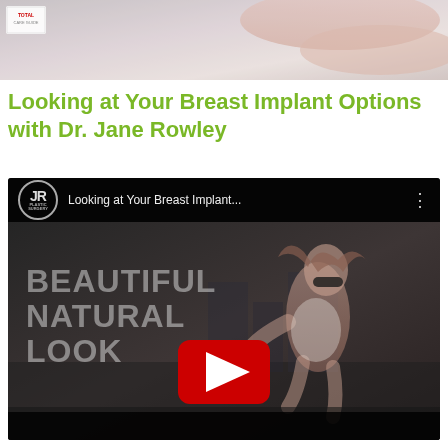[Figure (photo): Top banner photo showing hands/arm in soft pink and grey tones, with a small logo badge in top-left corner]
Looking at Your Breast Implant Options with Dr. Jane Rowley
[Figure (screenshot): YouTube video embed thumbnail showing 'Looking at Your Breast Implant...' title with JR Plastic Surgery logo. The video thumbnail shows a woman running with text 'BEAUTIFUL NATURAL LOOK' and a YouTube play button.]